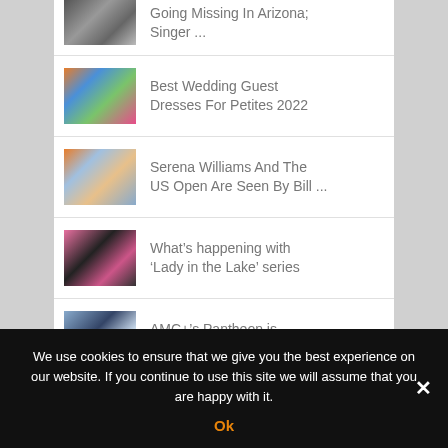Going Missing In Arizona; Singer ...
Best Wedding Guest Dresses For Petites 2022
Serena Williams And The US Open Are Seen By Bill ...
What’s happening with ‘Lady in the Lake’ series
AMC+’s Pantheon is Challenging Animated Sci-
We use cookies to ensure that we give you the best experience on our website. If you continue to use this site we will assume that you are happy with it.
Ok